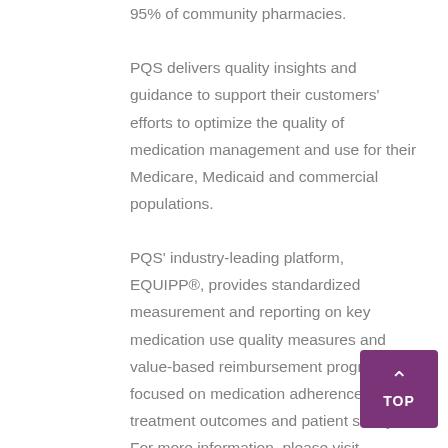95% of community pharmacies. PQS delivers quality insights and guidance to support their customers' efforts to optimize the quality of medication management and use for their Medicare, Medicaid and commercial populations. PQS' industry-leading platform, EQUIPP®, provides standardized measurement and reporting on key medication use quality measures and value-based reimbursement programs focused on medication adherence, treatment outcomes and patient safety. For more information, please visit